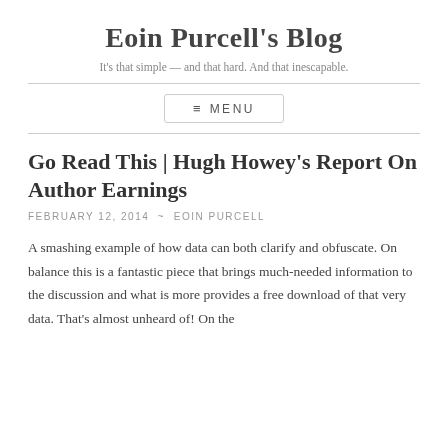Eoin Purcell's Blog
It's that simple — and that hard. And that inescapable.
Go Read This | Hugh Howey's Report On Author Earnings
FEBRUARY 12, 2014  ~  EOIN PURCELL
A smashing example of how data can both clarify and obfuscate. On balance this is a fantastic piece that brings much-needed information to the discussion and what is more provides a free download of that very data. That's almost unheard of! On the